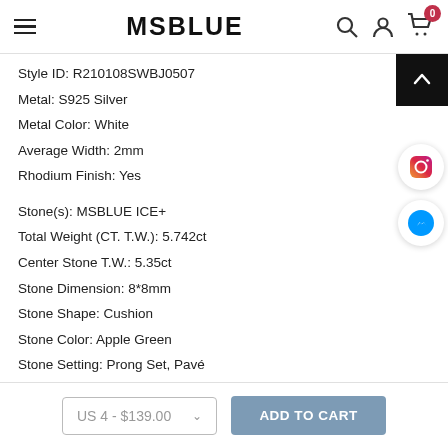MSBLUE
Style ID: R210108SWBJ0507
Metal: S925 Silver
Metal Color: White
Average Width: 2mm
Rhodium Finish: Yes
Stone(s): MSBLUE ICE+
Total Weight (CT. T.W.): 5.742ct
Center Stone T.W.: 5.35ct
Stone Dimension: 8*8mm
Stone Shape: Cushion
Stone Color: Apple Green
Stone Setting: Prong Set, Pavé
US 4 - $139.00
ADD TO CART